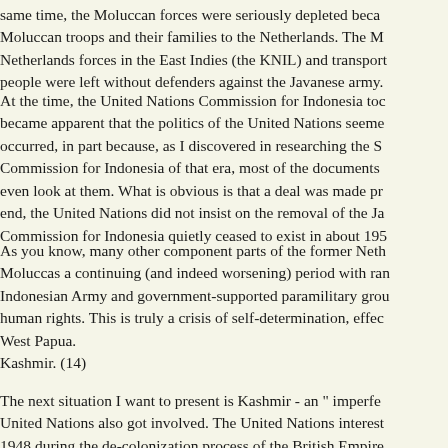same time, the Moluccan forces were seriously depleted beca Moluccan troops and their families to the Netherlands. The M Netherlands forces in the East Indies (the KNIL) and transport people were left without defenders against the Javanese army.
At the time, the United Nations Commission for Indonesia toc became apparent that the politics of the United Nations seeme occurred, in part because, as I discovered in researching the S Commission for Indonesia of that era, most of the documents even look at them. What is obvious is that a deal was made pr end, the United Nations did not insist on the removal of the Ja Commission for Indonesia quietly ceased to exist in about 195
As you know, many other component parts of the former Neth Moluccas a continuing (and indeed worsening) period with ran Indonesian Army and government-supported paramilitary grou human rights. This is truly a crisis of self-determination, effec West Papua.
Kashmir. (14)
The next situation I want to present is Kashmir - an " imperfe United Nations also got involved. The United Nations interest 1948 during the de-colonization process of the British Empire Pakistan and India reached an agreement with the British that own disposition. Prime Minister Nehru (India) had gone on a